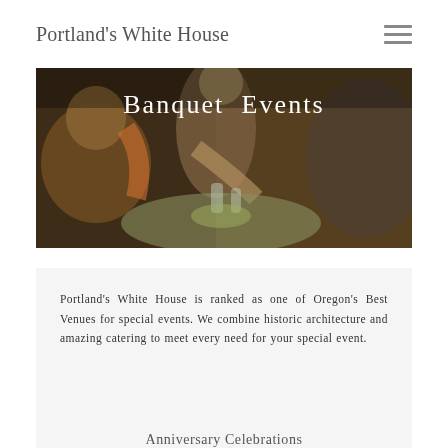Portland's White House
Banquet Events
[Figure (photo): People at a banquet event dining at a table, dimly lit restaurant atmosphere with food and glasses visible]
Portland's White House is ranked as one of Oregon's Best Venues for special events. We combine historic architecture and amazing catering to meet every need for your special event.
Anniversary Celebrations